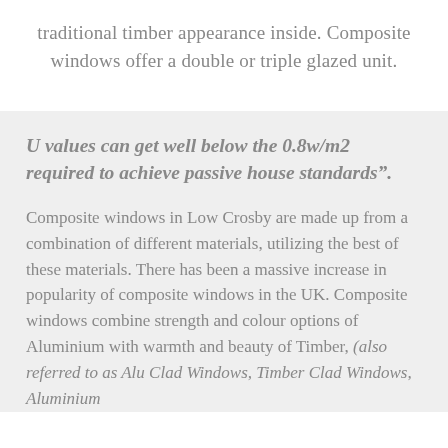traditional timber appearance inside. Composite windows offer a double or triple glazed unit.
U values can get well below the 0.8w/m2 required to achieve passive house standards".
Composite windows in Low Crosby are made up from a combination of different materials, utilizing the best of these materials. There has been a massive increase in popularity of composite windows in the UK. Composite windows combine strength and colour options of Aluminium with warmth and beauty of Timber, (also referred to as Alu Clad Windows, Timber Clad Windows, Aluminium